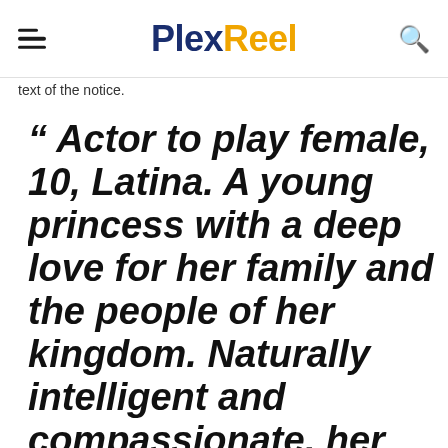PlexReel
text of the notice.
“ Actor to play female, 10, Latina. A young princess with a deep love for her family and the people of her kingdom. Naturally intelligent and compassionate, her parents teach her to always lead with kindness and generosity. Speaks with a Standard American